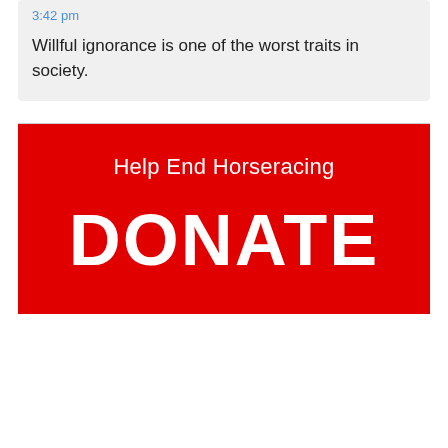3:42 pm
Willful ignorance is one of the worst traits in society.
[Figure (infographic): Red donation banner with white text reading 'Help End Horseracing' and 'DONATE']